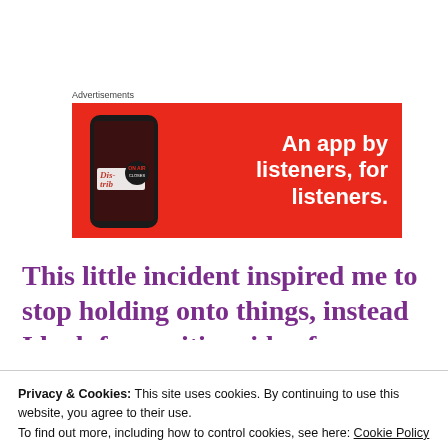Advertisements
[Figure (screenshot): Red advertisement banner for a music/podcast app showing a smartphone with 'Distrib' app and text 'An app by listeners, for listeners.']
This little incident inspired me to stop holding onto things, instead I look for positive side of every happenings. Let go is a wonderful magic
Privacy & Cookies: This site uses cookies. By continuing to use this website, you agree to their use.
To find out more, including how to control cookies, see here: Cookie Policy
Close and accept
Words Matter